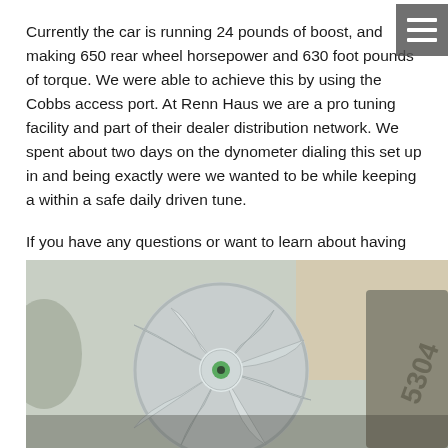Currently the car is running 24 pounds of boost, and making 650 rear wheel horsepower and 630 foot pounds of torque. We were able to achieve this by using the Cobbs access port. At Renn Haus we are a pro tuning facility and part of their dealer distribution network. We spent about two days on the dynometer dialing this set up in and being exactly were we wanted to be while keeping a within a safe daily driven tune.
If you have any questions or want to learn about having this combination added to your Porsche, please call us at 941-922-3600 for compete details.
[Figure (photo): Close-up photo of a turbocharger compressor wheel (impeller) with metallic silver blades, green center nut visible, and casting number 5304 visible on the housing to the right. Shot in shallow depth of field against a beige/grey background.]